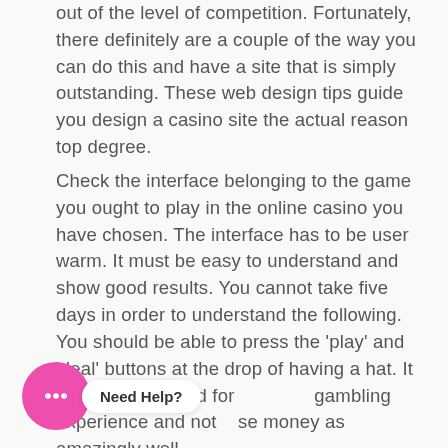out of the level of competition. Fortunately, there definitely are a couple of the way you can do this and have a site that is simply outstanding. These web design tips guide you design a casino site the actual reason top degree.
Check the interface belonging to the game you ought to play in the online casino you have chosen. The interface has to be user warm. It must be easy to understand and show good results. You cannot take five days in order to understand the following. You should be able to press the 'play' and 'deal' buttons at the drop of having a hat. It must be mastered for to gambling experience and not se money as amazingly well.